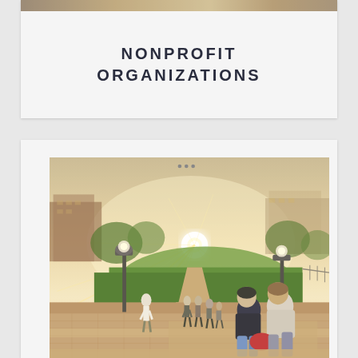[Figure (photo): Top decorative photo strip showing a blurred outdoor scene]
NONPROFIT ORGANIZATIONS
[Figure (photo): Outdoor campus scene with students walking and sitting on steps, sunlight streaming across a green lawn with lamp posts and buildings in the background]